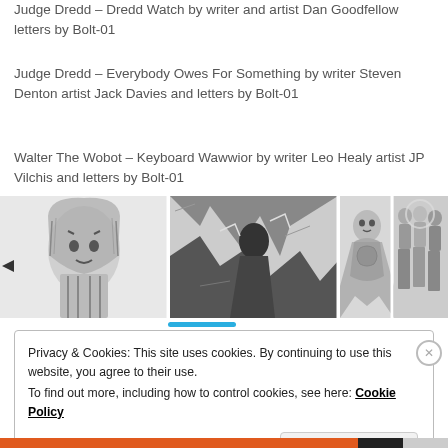Judge Dredd – Dredd Watch by writer and artist Dan Goodfellow letters by Bolt-01
Judge Dredd – Everybody Owes For Something by writer Steven Denton artist Jack Davies and letters by Bolt-01
Walter The Wobot – Keyboard Wawwior by writer Leo Healy artist JP Vilchis and letters by Bolt-01
[Figure (photo): Comic strip panels showing black and white comic art: a female character with hood, a dark action scene, a superhero figure, and multiple superhero characters]
Privacy & Cookies: This site uses cookies. By continuing to use this website, you agree to their use.
To find out more, including how to control cookies, see here: Cookie Policy
Close and accept